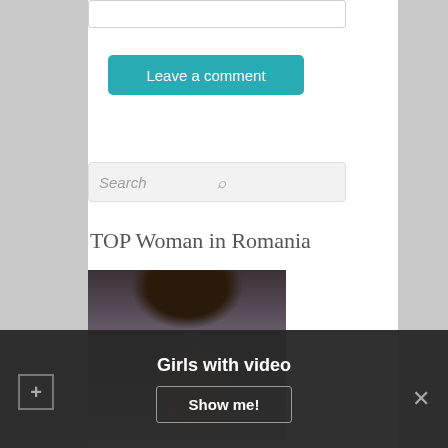[Figure (other): Text input box at top of page]
Leave a comment
[Figure (other): Search box with search icon]
TOP Woman in Romania
[Figure (photo): Close-up photo of a dark-haired woman outdoors]
Girls with video
Show me!